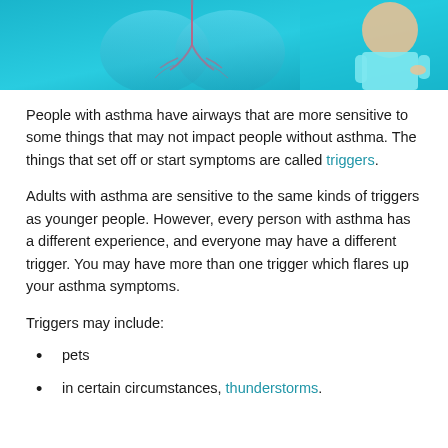[Figure (photo): Header image showing a medical illustration of human lungs in blue tones alongside a person in athletic wear against a teal background]
People with asthma have airways that are more sensitive to some things that may not impact people without asthma. The things that set off or start symptoms are called triggers.
Adults with asthma are sensitive to the same kinds of triggers as younger people. However, every person with asthma has a different experience, and everyone may have a different trigger. You may have more than one trigger which flares up your asthma symptoms.
Triggers may include:
pets
in certain circumstances, thunderstorms.